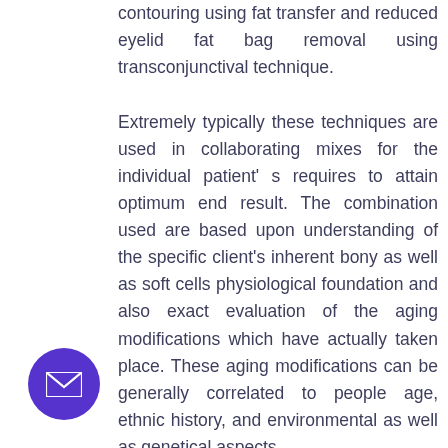contouring using fat transfer and reduced eyelid fat bag removal using transconjunctival technique.

Extremely typically these techniques are used in collaborating mixes for the individual patient' s requires to attain optimum end result. The combination used are based upon understanding of the specific client's inherent bony as well as soft cells physiological foundation and also exact evaluation of the aging modifications which have actually taken place. These aging modifications can be generally correlated to people age, ethnic history, and environmental as well as genetical aspects.

...mage and Ultherapy are both power based ...g gadgets which function by sinking RF (Thermage) or Finder (Ulthera) energy to warm
[Figure (other): Purple circular email button with envelope icon in bottom-left corner]